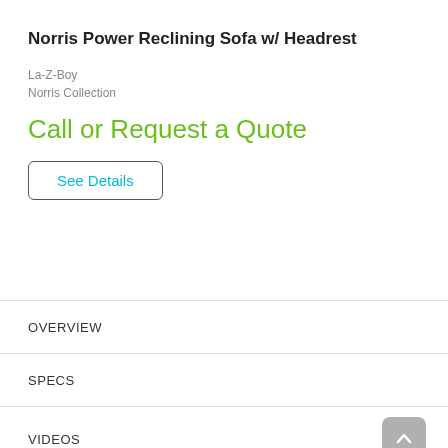Norris Power Reclining Sofa w/ Headrest
La-Z-Boy
Norris Collection
Call or Request a Quote
See Details
OVERVIEW
SPECS
VIDEOS